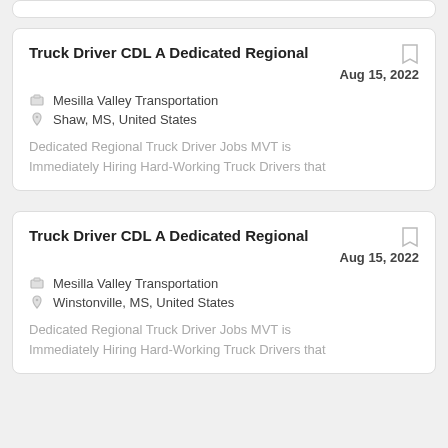Truck Driver CDL A Dedicated Regional — Aug 15, 2022 — Mesilla Valley Transportation — Shaw, MS, United States — Dedicated Regional Truck Driver Jobs MVT is Immediately Hiring Hard-Working Truck Drivers that
Truck Driver CDL A Dedicated Regional — Aug 15, 2022 — Mesilla Valley Transportation — Winstonville, MS, United States — Dedicated Regional Truck Driver Jobs MVT is Immediately Hiring Hard-Working Truck Drivers that